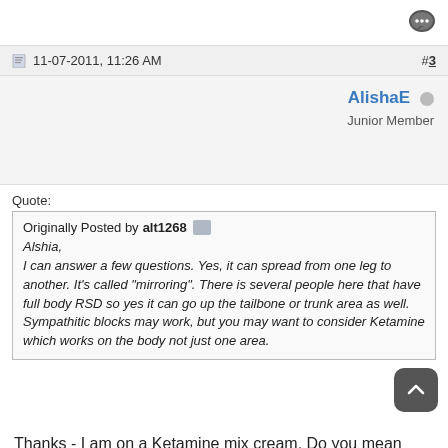[Figure (other): Chat/comment icon in top right corner]
11-07-2011, 11:26 AM
#3
AlishaE
Junior Member
Quote:
Originally Posted by alt1268
Alshia,
I can answer a few questions. Yes, it can spread from one leg to another. It's called "mirroring". There is several people here that have full body RSD so yes it can go up the tailbone or trunk area as well. Sympathitic blocks may work, but you may want to consider Ketamine which works on the body not just one area.
Thanks - I am on a Ketamine mix cream. Do you mean Ketamine in another form?